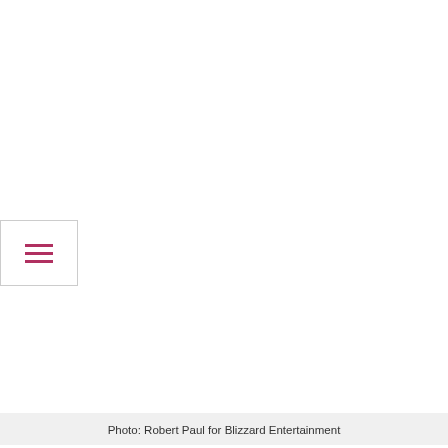[Figure (other): White space at top of page representing a photo area, with a hamburger menu icon on the left side]
Photo: Robert Paul for Blizzard Entertainment
An individual approach
One of the new Justice coaches fulfilling this triple style is former Houston Outlaws Support player Bani. Consistently regarded as one of the most cerebral and intelligent players of his time in the league as a player, it's clear that Bani is a natural fit for his new role as Justice coach.
“Coaching has been part of my long-term vision from the start.